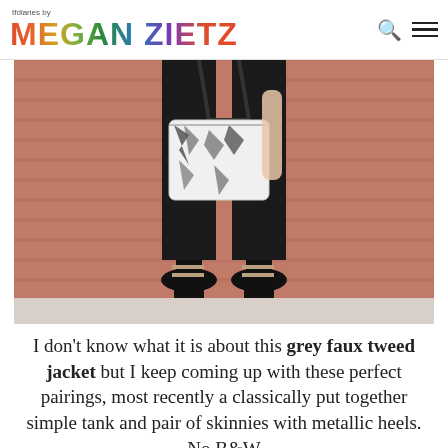tfdiaries by MEGAN ZIETZ
[Figure (photo): Fashion blog photo showing lower half of a person wearing black skinny jeans and black platform heels with metallic ankle straps, holding a black and white printed handbag, standing in front of a red brick wall]
I don't know what it is about this grey faux tweed jacket but I keep coming up with these perfect pairings, most recently a classically put together simple tank and pair of skinnies with metallic heels. No B&W bag would be complete without a stunning diamond, right?